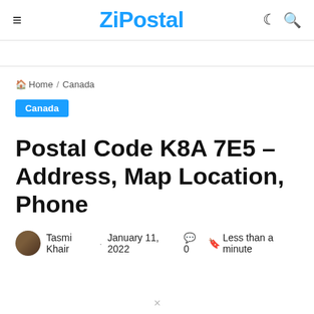ZiPostal
Home / Canada
Canada
Postal Code K8A 7E5 – Address, Map Location, Phone
Tasmi Khair · January 11, 2022  0  Less than a minute